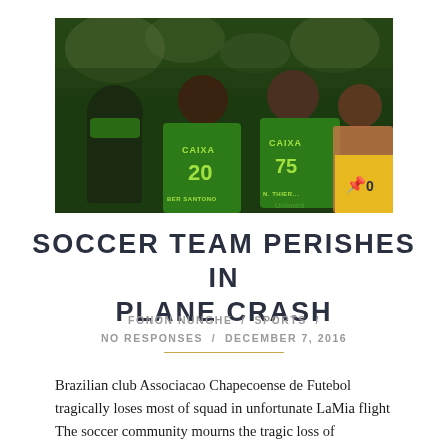[Figure (photo): Chapecoense soccer players in green CAIXA jerseys hugging each other on the field, celebrating]
SOCCER TEAM PERISHES IN PLANE CRASH
FONON NUNGHE / SPORTS / NO RESPONSES / DECEMBER 7, 2016
Brazilian club Associacao Chapecoense de Futebol tragically loses most of squad in unfortunate LaMia flight The soccer community mourns the tragic loss of Chapecoense de